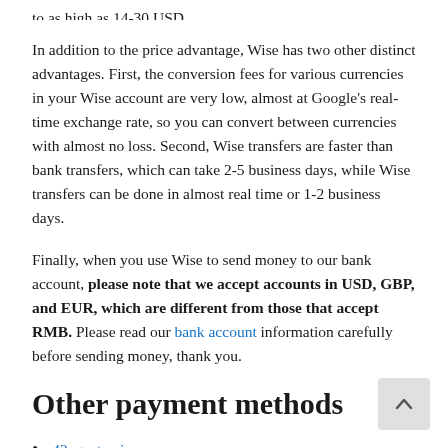In addition to the price advantage, Wise has two other distinct advantages. First, the conversion fees for various currencies in your Wise account are very low, almost at Google's real-time exchange rate, so you can convert between currencies with almost no loss. Second, Wise transfers are faster than bank transfers, which can take 2-5 business days, while Wise transfers can be done in almost real time or 1-2 business days.
Finally, when you use Wise to send money to our bank account, please note that we accept accounts in USD, GBP, and EUR, which are different from those that accept RMB. Please read our bank account information carefully before sending money, thank you.
Other payment methods
42agent coin
PayPal
Western Union